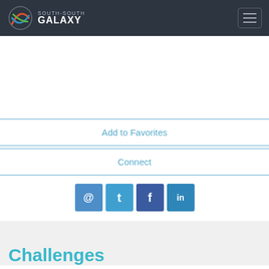SOUTH-SOUTH GALAXY
Add to Favorites
Connect
[Figure (other): Social media icons: email (@), Twitter (t), Facebook (f), LinkedIn (in)]
Challenges